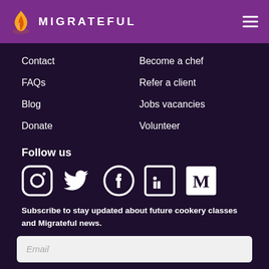MIGRATEFUL
Contact
Become a chef
FAQs
Refer a client
Blog
Jobs vacancies
Donate
Volunteer
Follow us
[Figure (illustration): Social media icons: Instagram, Twitter, Facebook, LinkedIn, Medium]
Subscribe to stay updated about future cookery classes and Migrateful news.
Email